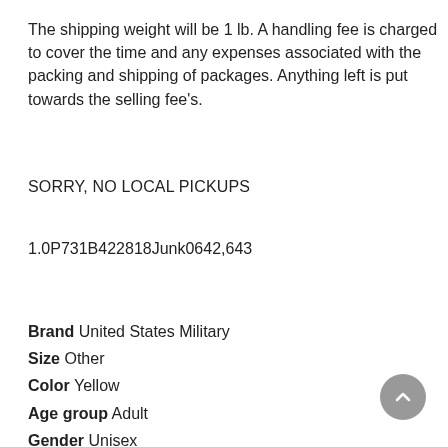The shipping weight will be 1 lb. A handling fee is charged to cover the time and any expenses associated with the packing and shipping of packages. Anything left is put towards the selling fee's.
SORRY, NO LOCAL PICKUPS
1.0P731B422818Junk0642,643
Brand United States Military
Size Other
Color Yellow
Age group Adult
Gender Unisex